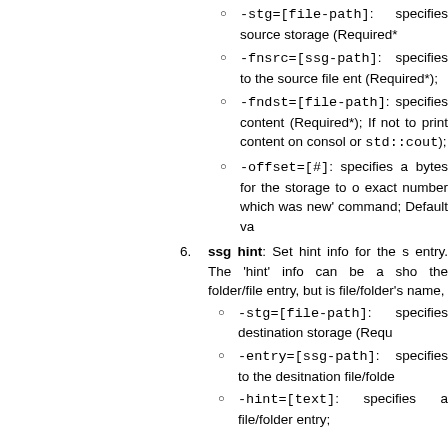-stg=[file-path]: specifies source storage (Required*);
-fnsrc=[ssg-path]: specifies to the source file entry (Required*);
-fndst=[file-path]: specifies content (Required*); If not to print content on console or std::cout);
-offset=[#]: specifies a bytes for the storage to exact number which was new' command; Default va
6. ssg hint: Set hint info for the s entry. The 'hint' info can be a sho the folder/file entry, but is file/folder's name,
-stg=[file-path]: specifies destination storage (Requ
-entry=[ssg-path]: specifies to the desitnation file/fold
-hint=[text]: specifies a file/folder entry;